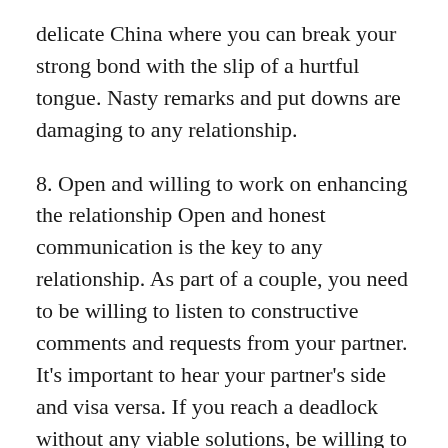delicate China where you can break your strong bond with the slip of a hurtful tongue. Nasty remarks and put downs are damaging to any relationship.
8. Open and willing to work on enhancing the relationship Open and honest communication is the key to any relationship. As part of a couple, you need to be willing to listen to constructive comments and requests from your partner. It's important to hear your partner's side and visa versa. If you reach a deadlock without any viable solutions, be willing to seek help from an impartial third party to resolve major relationship issues.
9. Trustworthy Trust is built over time and many